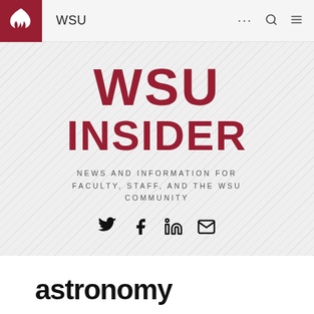WSU
[Figure (logo): WSU Insider logo banner with diagonal stripe background showing 'WSU INSIDER' in large crimson bold text, subtitle 'NEWS AND INFORMATION FOR FACULTY, STAFF, AND THE WSU COMMUNITY', and social media icons for Twitter, Facebook, LinkedIn, and Email]
astronomy